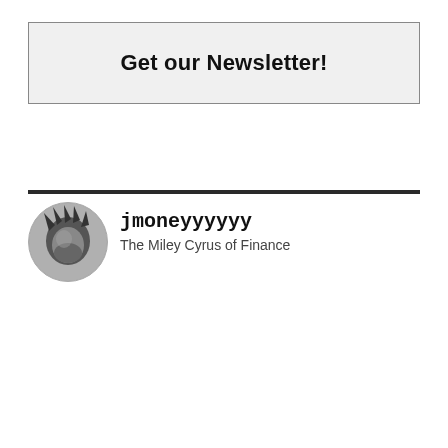Get our Newsletter!
[Figure (photo): Circular avatar photo of jmoneyyyyyy, black and white image showing a figure with spiky hair or hat]
jmoneyyyyyy
The Miley Cyrus of Finance